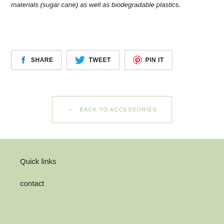materials (sugar cane) as well as biodegradable plastics.
SHARE
TWEET
PIN IT
← BACK TO ACCESSORIES
Quick links
contact